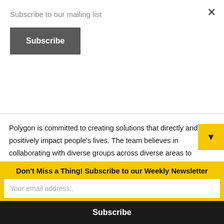Subscribe to our mailing list
[Figure (screenshot): Subscribe button (dark gray rectangular button with white bold text 'Subscribe')]
Polygon is committed to creating solutions that directly and positively impact people's lives. The team believes in collaborating with diverse groups across diverse areas to identify critical issues. Through this process, sustainable solutions are developed from the ground up, resulting in true social impact and positive change.
Currently, Polygon is exploring solutions related to:
Don't Miss a Thing! Subscribe to our Weekly Newsletter
Your email address..
Subscribe